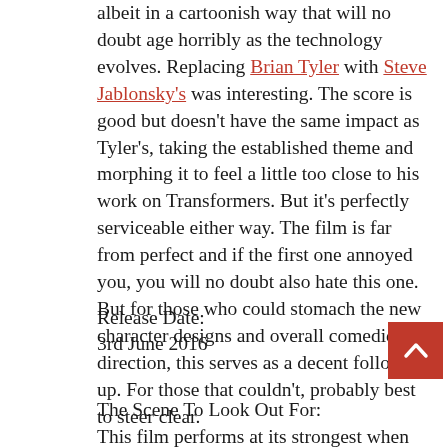albeit in a cartoonish way that will no doubt age horribly as the technology evolves. Replacing Brian Tyler with Steve Jablonsky's was interesting. The score is good but doesn't have the same impact as Tyler's, taking the established theme and morphing it to feel a little too close to his work on Transformers. But it's perfectly serviceable either way. The film is far from perfect and if the first one annoyed you, you will no doubt also hate this one. But for those who could stomach the new character designs and overall comedic direction, this serves as a decent follow-up. For those that couldn't, probably best to steer clear.
Release Date:
3rd June 2016
The Scene To Look Out For:
This film performs at its strongest when the Turtles